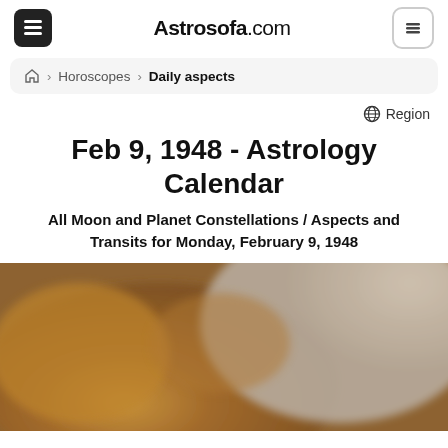Astrosofa.com
Horoscopes > Daily aspects
Region
Feb 9, 1948 - Astrology Calendar
All Moon and Planet Constellations / Aspects and Transits for Monday, February 9, 1948
[Figure (photo): A blurred close-up photo of a person with brown hair and a white garment in the background.]